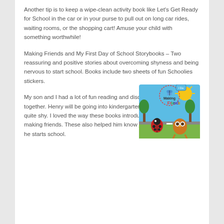Another tip is to keep a wipe-clean activity book like Let's Get Ready for School in the car or in your purse to pull out on long car rides, waiting rooms, or the shopping cart! Amuse your child with something worthwhile!
Making Friends and My First Day of School Storybooks – Two reassuring and positive stories about overcoming shyness and being nervous to start school. Books include two sheets of fun Schoolies stickers.
My son and I had a lot of fun reading and discussing this book together. Henry will be going into kindergarten in the fall and can be quite shy. I loved the way these books introduced the concept of making friends. These also helped him know just what to expect as he starts school.
[Figure (photo): Book cover of 'Making Friends' showing cartoon characters including a ladybug and owl, with trees and a sun in a colorful children's book style]